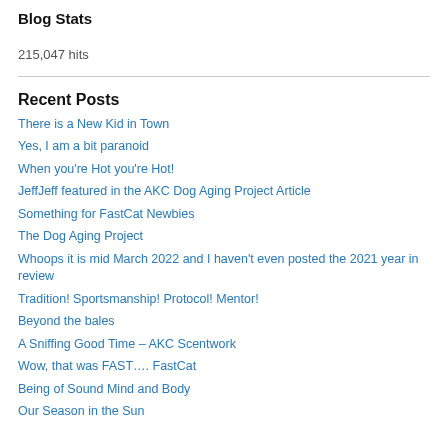Blog Stats
215,047 hits
Recent Posts
There is a New Kid in Town
Yes, I am a bit paranoid
When you're Hot you're Hot!
JeffJeff featured in the AKC Dog Aging Project Article
Something for FastCat Newbies
The Dog Aging Project
Whoops it is mid March 2022 and I haven't even posted the 2021 year in review
Tradition! Sportsmanship! Protocol! Mentor!
Beyond the bales
A Sniffing Good Time – AKC Scentwork
Wow, that was FAST…. FastCat
Being of Sound Mind and Body
Our Season in the Sun